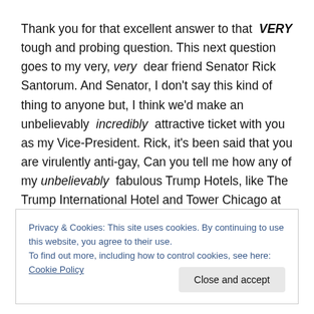Thank you for that excellent answer to that VERY tough and probing question. This next question goes to my very, very dear friend Senator Rick Santorum. And Senator, I don't say this kind of thing to anyone but, I think we'd make an unbelievably incredibly attractive ticket with you as my Vice-President. Rick, it's been said that you are virulently anti-gay, Can you tell me how any of my unbelievably fabulous Trump Hotels, like The Trump International Hotel and Tower Chicago at
Privacy & Cookies: This site uses cookies. By continuing to use this website, you agree to their use.
To find out more, including how to control cookies, see here: Cookie Policy